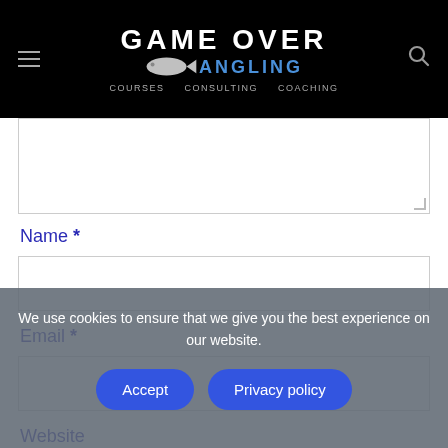GAME OVER ANGLING — COURSES CONSULTING COACHING
[Figure (screenshot): Form textarea input box, partially visible at top]
Name *
[Figure (screenshot): Name input text field, empty]
Email *
[Figure (screenshot): Email input text field, empty]
Website
We use cookies to ensure that we give you the best experience on our website.
Accept
Privacy policy